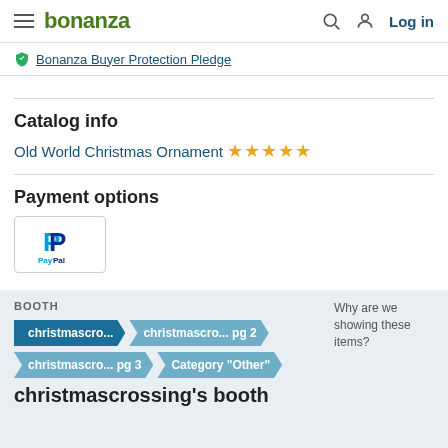bonanza  Log in
Bonanza Buyer Protection Pledge
Catalog info
Old World Christmas Ornament ★★★★★
Payment options
[Figure (logo): PayPal logo inside a bordered box]
BOOTH
Why are we showing these items?
christmascro...  christmascro... pg 2  christmascro... pg 3  Category "Other"
christmascrossing's booth